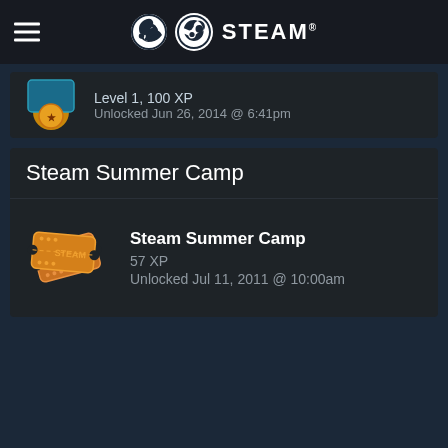STEAM
Level 1, 100 XP
Unlocked Jun 26, 2014 @ 6:41pm
Steam Summer Camp
Steam Summer Camp
57 XP
Unlocked Jul 11, 2011 @ 10:00am